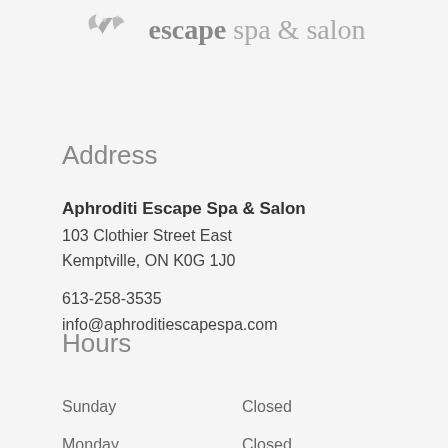[Figure (logo): Aphroditi Escape Spa & Salon logo with decorative leaf/swirl icon and text 'escape spa & salon']
Address
Aphroditi Escape Spa & Salon
103 Clothier Street East
Kemptville, ON K0G 1J0
613-258-3535
info@aphroditiescapespa.com
Hours
| Day | Hours |
| --- | --- |
| Sunday | Closed |
| Monday | Closed |